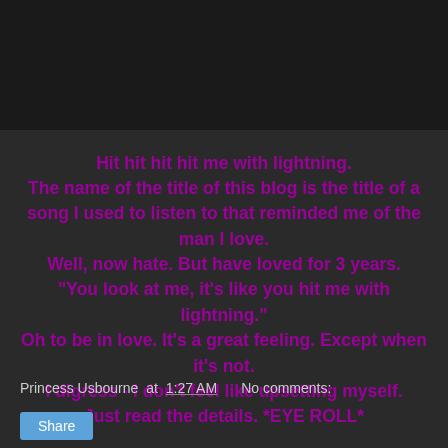[Figure (other): Dark gray header image area at top of blog post]
Hit hit hit hit me with lightning.
The name of the title of this blog is the title of a song I used to listen to that reminded me of the man I love.
Well, now hate. But have loved for 3 years.
"You look at me, it's like you hit me with lightning."
Oh to be in love. It's a great feeling. Except when it's not.
I digress - I don't feel like upsetting myself.
Just read the details. *EYE ROLL*
Princess Usbourne at 1:27 AM   No comments: